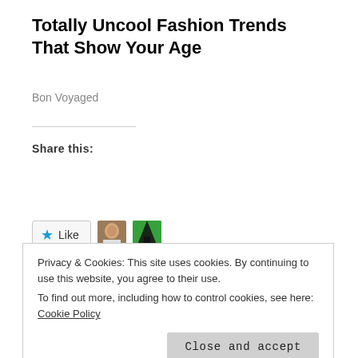Totally Uncool Fashion Trends That Show Your Age
Bon Voyaged
Share this:
Share
[Figure (other): Like button with star icon and two blogger avatar thumbnails]
2 bloggers like this.
Related
Privacy & Cookies: This site uses cookies. By continuing to use this website, you agree to their use.
To find out more, including how to control cookies, see here: Cookie Policy
Close and accept
Mystery by Sarah Hualde   Mystery by V.M. Burns